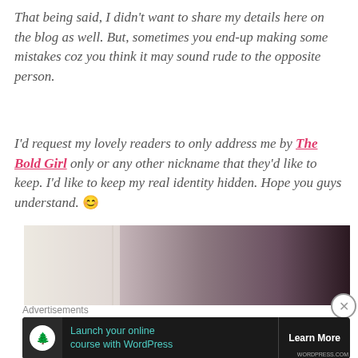That being said, I didn't want to share my details here on the blog as well. But, sometimes you end-up making some mistakes coz you think it may sound rude to the opposite person.
I'd request my lovely readers to only address me by The Bold Girl only or any other nickname that they'd like to keep. I'd like to keep my real identity hidden. Hope you guys understand. 😊
[Figure (photo): A blurred/dark photo showing a surface with dark tones on the right side]
Advertisements
[Figure (infographic): Advertisement banner: Launch your online course with WordPress — Learn More]